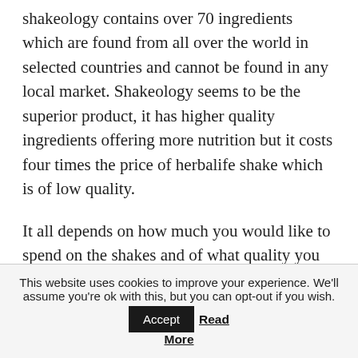shakeology contains over 70 ingredients which are found from all over the world in selected countries and cannot be found in any local market. Shakeology seems to be the superior product, it has higher quality ingredients offering more nutrition but it costs four times the price of herbalife shake which is of low quality.
It all depends on how much you would like to spend on the shakes and of what quality you would love to buy.
This website uses cookies to improve your experience. We'll assume you're ok with this, but you can opt-out if you wish. Accept Read More